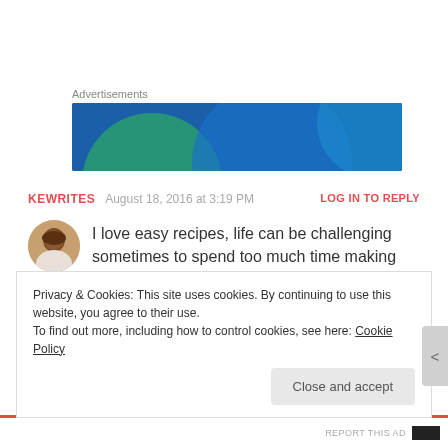Advertisements
[Figure (illustration): Blue and teal gradient advertisement banner with overlapping circle shapes]
KEWRITES   August 18, 2016 at 3:19 PM   LOG IN TO REPLY
I love easy recipes, life can be challenging sometimes to spend too much time making food! lovely blog
Privacy & Cookies: This site uses cookies. By continuing to use this website, you agree to their use.
To find out more, including how to control cookies, see here: Cookie Policy
Close and accept